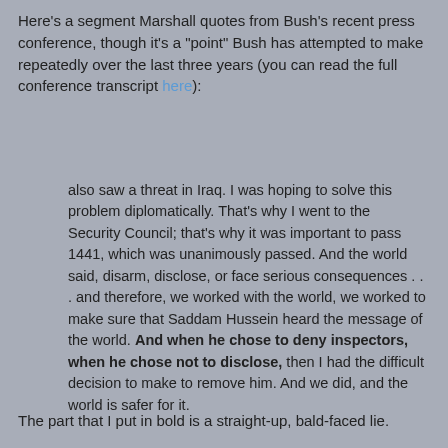Here's a segment Marshall quotes from Bush's recent press conference, though it's a "point" Bush has attempted to make repeatedly over the last three years (you can read the full conference transcript here):
also saw a threat in Iraq. I was hoping to solve this problem diplomatically. That's why I went to the Security Council; that's why it was important to pass 1441, which was unanimously passed. And the world said, disarm, disclose, or face serious consequences . . . and therefore, we worked with the world, we worked to make sure that Saddam Hussein heard the message of the world. And when he chose to deny inspectors, when he chose not to disclose, then I had the difficult decision to make to remove him. And we did, and the world is safer for it.
The part that I put in bold is a straight-up, bald-faced lie.